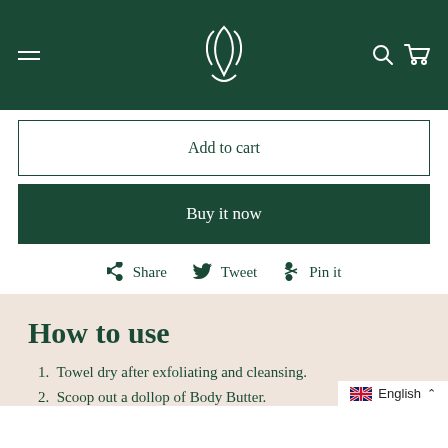Navigation header with hamburger menu, logo, search and cart icons
Add to cart
Buy it now
Share  Tweet  Pin it
How to use
Towel dry after exfoliating and cleansing.
Scoop out a dollop of Body Butter.
English